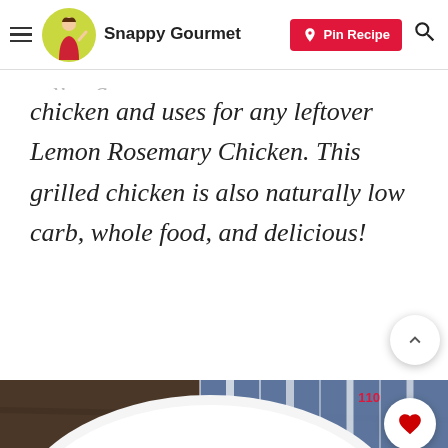Snappy Gourmet — Pin Recipe
chicken and uses for any leftover Lemon Rosemary Chicken. This grilled chicken is also naturally low carb, whole food, and delicious!
[Figure (photo): A white plate with grilled lemon rosemary chicken pieces and a lemon slice, on a dark wooden table with a blue and white striped cloth in the background.]